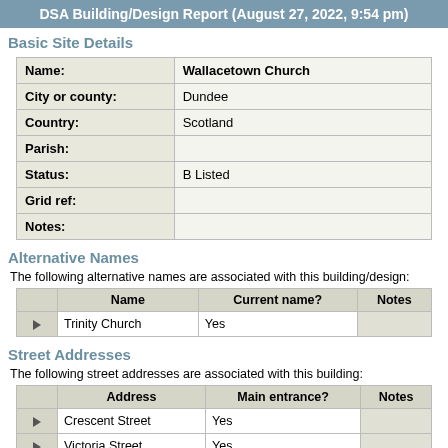DSA Building/Design Report (August 27, 2022, 9:54 pm)
Basic Site Details
| Field | Value |
| --- | --- |
| Name: | Wallacetown Church |
| City or county: | Dundee |
| Country: | Scotland |
| Parish: |  |
| Status: | B Listed |
| Grid ref: |  |
| Notes: |  |
Alternative Names
The following alternative names are associated with this building/design:
|  | Name | Current name? | Notes |
| --- | --- | --- | --- |
| ▶ | Trinity Church | Yes |  |
Street Addresses
The following street addresses are associated with this building:
|  | Address | Main entrance? | Notes |
| --- | --- | --- | --- |
| ▶ | Crescent Street | Yes |  |
| ▶ | Victoria Street | Yes |  |